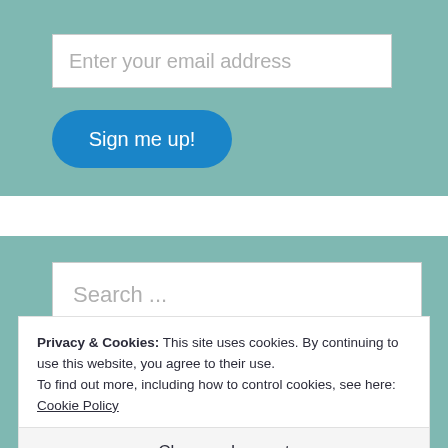[Figure (screenshot): Email subscription input field with placeholder text 'Enter your email address' on a teal/muted green background]
[Figure (screenshot): Blue rounded 'Sign me up!' button on teal background]
[Figure (screenshot): Search input field with placeholder text 'Search ...' on a teal background]
Privacy & Cookies: This site uses cookies. By continuing to use this website, you agree to their use.
To find out more, including how to control cookies, see here:
Cookie Policy
Close and accept